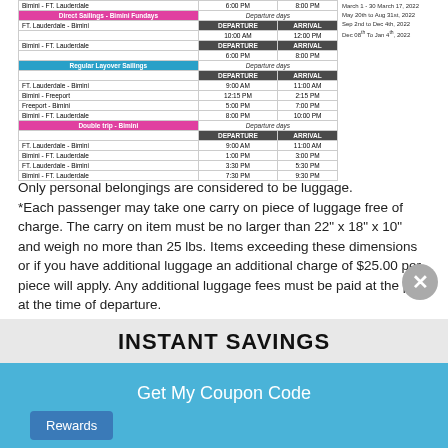| Route | DEPARTURE | ARRIVAL |
| --- | --- | --- |
| Bimini - FT. Lauderdale | 6:00 PM | 8:00 PM |
| Direct Sailings - Bimini Fundays |  | Departure days |
| FT. Lauderdale - Bimini | DEPARTURE | ARRIVAL |
|  | 10:00 AM | 12:00 PM |
| Bimini - FT. Lauderdale | DEPARTURE | ARRIVAL |
|  | 6:00 PM | 8:00 PM |
| Regular Layover Sailings |  | Departure days |
|  | DEPARTURE | ARRIVAL |
| FT. Lauderdale - Bimini | 9:00 AM | 11:00 AM |
| Bimini - Freeport | 12:15 PM | 2:15 PM |
| Freeport - Bimini | 5:00 PM | 7:00 PM |
| Bimini - FT. Lauderdale | 8:00 PM | 10:00 PM |
| Double trip - Bimini |  | Departure days |
|  | DEPARTURE | ARRIVAL |
| FT. Lauderdale - Bimini | 9:00 AM | 11:00 AM |
| Bimini - FT. Lauderdale | 1:00 PM | 3:00 PM |
| FT. Lauderdale - Bimini | 3:30 PM | 5:30 PM |
| Bimini - FT. Lauderdale | 7:30 PM | 9:30 PM |
Only personal belongings are considered to be luggage.
*Each passenger may take one carry on piece of luggage free of charge. The carry on item must be no larger than 22" x 18" x 10" and weigh no more than 25 lbs. Items exceeding these dimensions or if you have additional luggage an additional charge of $25.00 per piece will apply. Any additional luggage fees must be paid at the port at the time of departure.
Passengers with cargo items (large items that that
INSTANT SAVINGS
Get My Coupon Code